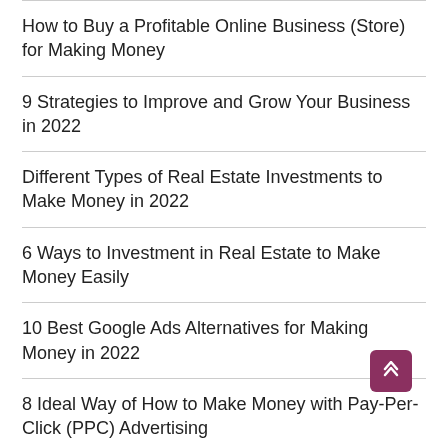How to Buy a Profitable Online Business (Store) for Making Money
9 Strategies to Improve and Grow Your Business in 2022
Different Types of Real Estate Investments to Make Money in 2022
6 Ways to Investment in Real Estate to Make Money Easily
10 Best Google Ads Alternatives for Making Money in 2022
8 Ideal Way of How to Make Money with Pay-Per-Click (PPC) Advertising
10 Best Personal Finance Software Review of 2022